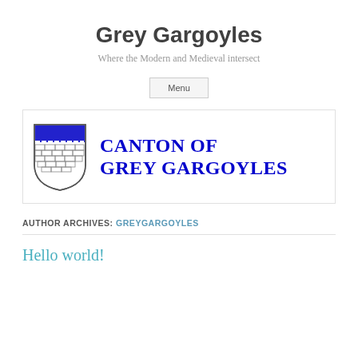Grey Gargoyles
Where the Modern and Medieval intersect
Menu
[Figure (logo): Canton of Grey Gargoyles heraldic shield logo with blue top band and stone brickwork pattern, alongside bold blue text reading CANTON OF GREY GARGOYLES]
AUTHOR ARCHIVES: GREYGARGOYLES
Hello world!